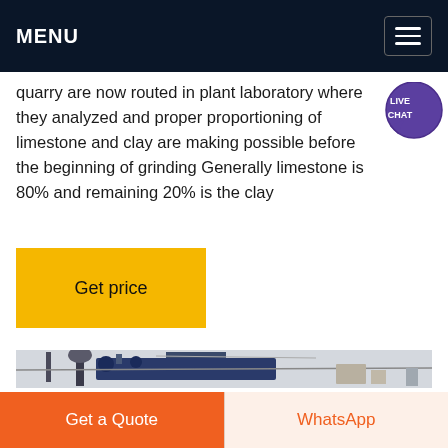MENU
quarry are now routed in plant laboratory where they analyzed and proper proportioning of limestone and clay are making possible before the beginning of grinding Generally limestone is 80% and remaining 20% is the clay
Get price
[Figure (photo): Industrial machinery or plant equipment, possibly a cement or grinding plant, photographed outdoors with blue/grey tones]
Get a Quote
WhatsApp